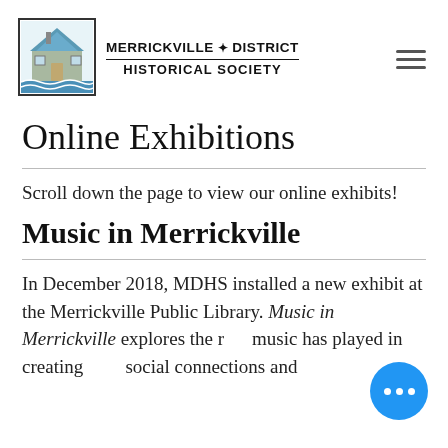[Figure (logo): Merrickville & District Historical Society logo: a building with blue roof and water/waves beneath, in a square border]
MERRICKVILLE & DISTRICT HISTORICAL SOCIETY
Online Exhibitions
Scroll down the page to view our online exhibits!
Music in Merrickville
In December 2018, MDHS installed a new exhibit at the Merrickville Public Library. Music in Merrickville explores the role music has played in creating social connections and